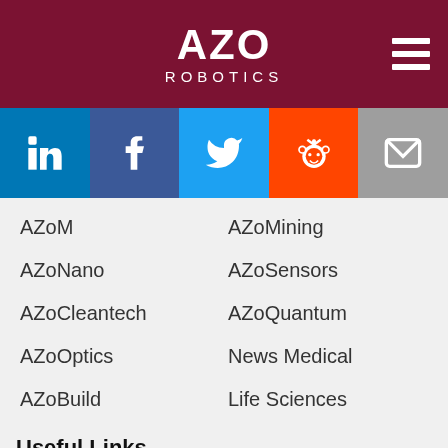AZO ROBOTICS
[Figure (infographic): Social media icons bar: LinkedIn, Facebook, Twitter, Reddit, Email]
AZoM
AZoMining
AZoNano
AZoSensors
AZoCleantech
AZoQuantum
AZoOptics
News Medical
AZoBuild
Life Sciences
Useful Links
We use cookies to enhance your experience. By continuing to browse this site you agree to our use of cookies. More info.
✓ Accept   Cookie Settings